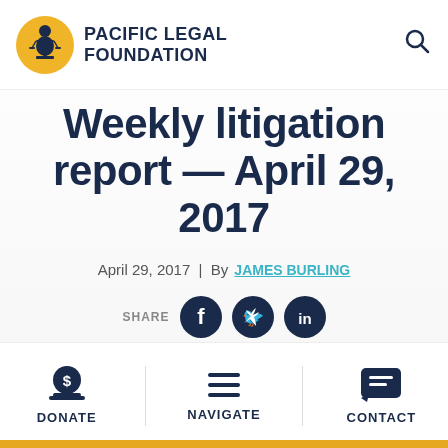PACIFIC LEGAL FOUNDATION
Weekly litigation report — April 29, 2017
April 29, 2017 | By JAMES BURLING
SHARE
DONATE   NAVIGATE   CONTACT